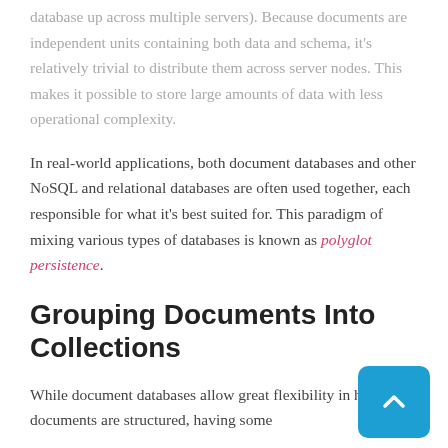database up across multiple servers). Because documents are independent units containing both data and schema, it's relatively trivial to distribute them across server nodes. This makes it possible to store large amounts of data with less operational complexity.
In real-world applications, both document databases and other NoSQL and relational databases are often used together, each responsible for what it's best suited for. This paradigm of mixing various types of databases is known as polyglot persistence.
Grouping Documents Into Collections
While document databases allow great flexibility in how the documents are structured, having some